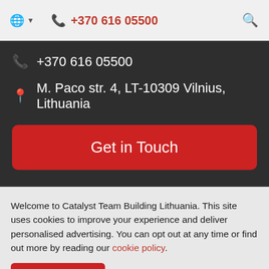+370 616 05500
+370 616 05500
M. Paco str. 4, LT-10309 Vilnius, Lithuania
Get in Touch
Welcome to Catalyst Team Building Lithuania. This site uses cookies to improve your experience and deliver personalised advertising. You can opt out at any time or find out more by reading our cookie policy.
I Understand
Copyright © 2022 Catalyst Limited.